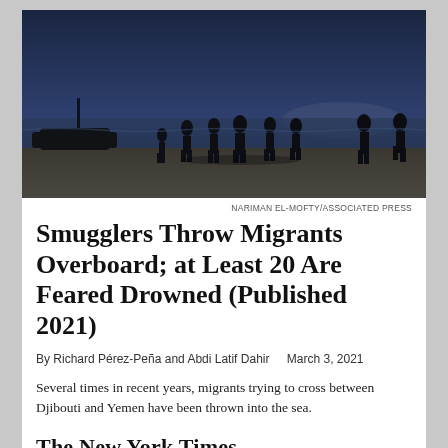[Figure (photo): Silhouettes of migrants on a beach at dusk, with a boat visible in the background near the water's edge.]
NARIMAN EL-MOFTY/ASSOCIATED PRESS
Smugglers Throw Migrants Overboard; at Least 20 Are Feared Drowned (Published 2021)
By Richard Pérez-Peña and Abdi Latif Dahir    March 3, 2021
Several times in recent years, migrants trying to cross between Djibouti and Yemen have been thrown into the sea.
[Figure (logo): The New York Times masthead logo in black serif typeface]